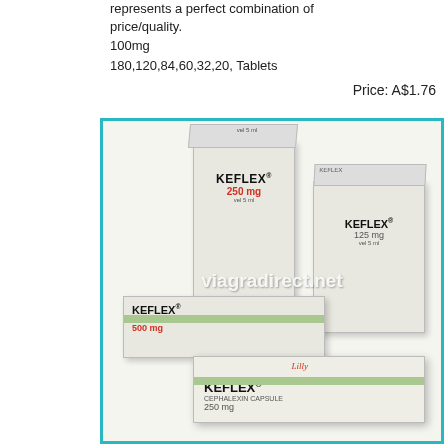represents a perfect combination of price/quality.
100mg
180,120,84,60,32,20, Tablets
Price: A$1.76
[Figure (photo): Four boxes of Keflex (cephalexin) antibiotic medication in various strengths: 250mg, 125mg, 500mg, and 250mg capsules. Watermark reads viagradirect.net.]